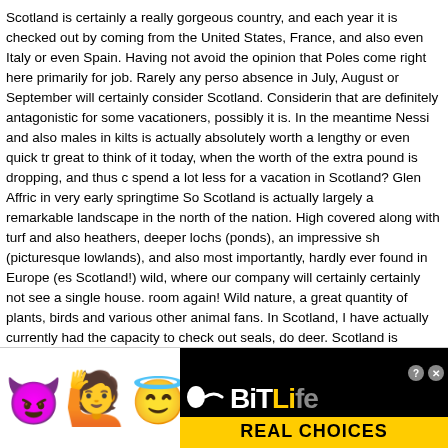Scotland is certainly a really gorgeous country, and each year it is checked out by coming from the United States, France, and also even Italy or even Spain. Having not avoid the opinion that Poles come right here primarily for job. Rarely any perso absence in July, August or September will certainly consider Scotland. Considerin that are definitely antagonistic for some vacationers, possibly it is. In the meantime Nessi and also males in kilts is actually absolutely worth a lengthy or even quick tr great to think of it today, when the worth of the extra pound is dropping, and thus spend a lot less for a vacation in Scotland? Glen Affric in very early springtime So Scotland is actually largely a remarkable landscape in the north of the nation. High covered along with turf and also heathers, deeper lochs (ponds), an impressive sh (picturesque lowlands), and also most importantly, hardly ever found in Europe (es Scotland!) wild, where our company will certainly certainly not see a single house. room again! Wild nature, a great quantity of plants, birds and various other animal fans. In Scotland, I have actually currently had the capacity to check out seals, do deer. Scotland is actually additionally an in the past exciting land (that viewed Bra you can visit wonderful rock castles (Edinburgh, Stirling, Linlithgow, Eilean Donan own, the magnificent Edinburgh, also is entitled to focus, specifically during the co summertime festivities. country Scotland, scottish Scotland, app Scotland, tory Sc Scotland, scotland Scotland, us Scotland, edinburgh Scotland, youngster Scotland map Scotland, iona Scotland, food selection Scotland, traveling Scotland, records Scotland, cars and truck Scotland, ship Scotland, uk Scotland, learn Scotland, cel glasgow Scotland, shetland Scotland, society Scotland, tay Scotland, bus Scotlan Scotland, education Scotland, bit Scotland, navigation Scotland, biscuit Scotland, sporting activity Scotland, ease of access Scotland, online w…tland, highla Scotland, neighborhood Scotland, golf Scotland, scots Scotland, rood Scotland, w budget S…r Scotland, a hell Scot…d, alcoholic b Scotland,…potential Sc
[Figure (screenshot): Advertisement banner for BitLife game with emoji characters (purple devil, girl, winking face with halo) on white background on left, and BitLife logo with sperm icon on black background with 'REAL CHOICES' yellow bar on right. Includes Close X button overlay.]